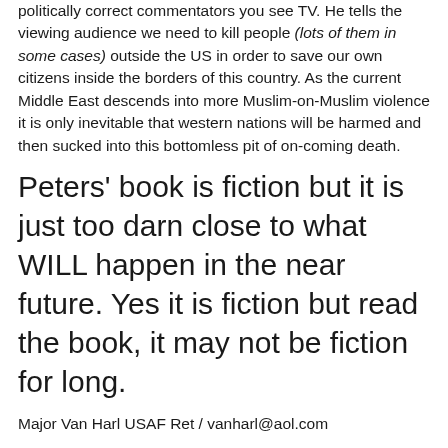politically correct commentators you see TV. He tells the viewing audience we need to kill people (lots of them in some cases) outside the US in order to save our own citizens inside the borders of this country. As the current Middle East descends into more Muslim-on-Muslim violence it is only inevitable that western nations will be harmed and then sucked into this bottomless pit of on-coming death.
Peters' book is fiction but it is just too darn close to what WILL happen in the near future. Yes it is fiction but read the book, it may not be fiction for long.
Major Van Harl USAF Ret / vanharl@aol.com
About Major Van Harl USAF Ret.: Major Van E. Harl USAF Ret., a career Police Officer in the U.S. Air Force was born in Burlington, Iowa, USA, in 1955. He was the Deputy Chief of police at two Air Force Bases and the Commander of Law Enforcement Squadron at another base and a ...